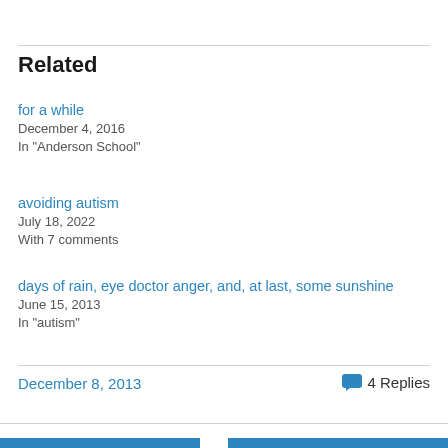Related
for a while
December 4, 2016
In "Anderson School"
avoiding autism
July 18, 2022
With 7 comments
days of rain, eye doctor anger, and, at last, some sunshine
June 15, 2013
In "autism"
December 8, 2013
4 Replies